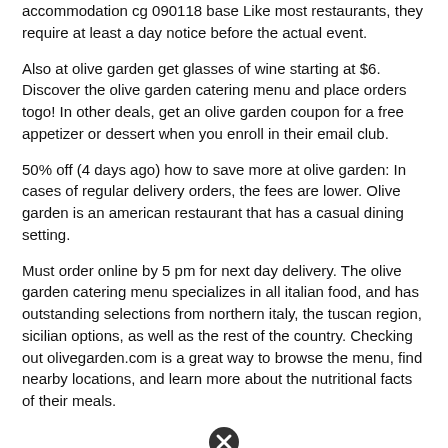accommodation cg 090118 base Like most restaurants, they require at least a day notice before the actual event.
Also at olive garden get glasses of wine starting at $6. Discover the olive garden catering menu and place orders togo! In other deals, get an olive garden coupon for a free appetizer or dessert when you enroll in their email club.
50% off (4 days ago) how to save more at olive garden: In cases of regular delivery orders, the fees are lower. Olive garden is an american restaurant that has a casual dining setting.
Must order online by 5 pm for next day delivery. The olive garden catering menu specializes in all italian food, and has outstanding selections from northern italy, the tuscan region, sicilian options, as well as the rest of the country. Checking out olivegarden.com is a great way to browse the menu, find nearby locations, and learn more about the nutritional facts of their meals.
[Figure (other): A circular close/cancel button icon with an X symbol inside]